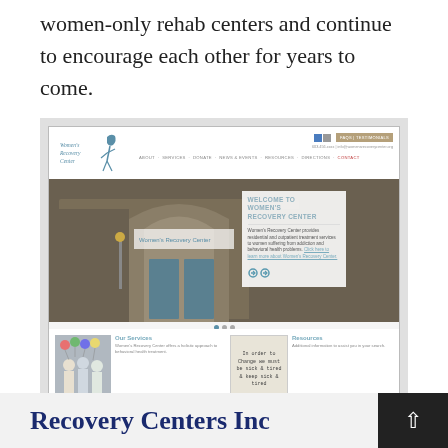women-only rehab centers and continue to encourage each other for years to come.
[Figure (screenshot): Screenshot of Women's Recovery Center website showing navigation bar with logo, hero image of building entrance with welcome overlay text, Our Services section with group photo thumbnail, and Resources section with handwritten note thumbnail.]
Recovery Centers Inc